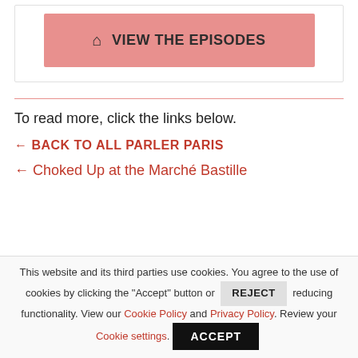[Figure (screenshot): Pink button with house/home icon and text 'VIEW THE EPISODES']
To read more, click the links below.
← BACK TO ALL PARLER PARIS
← Choked Up at the Marché Bastille
This website and its third parties use cookies. You agree to the use of cookies by clicking the "Accept" button or REJECT reducing functionality. View our Cookie Policy and Privacy Policy. Review your Cookie settings.